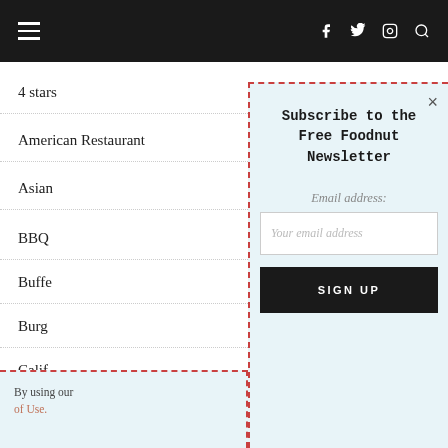Navigation header with hamburger menu and social icons (f, twitter, instagram, search)
4 stars
American Restaurant
Asian
BBQ
Buffe
Burg
Calif
Calif
By using our... of Use.
Subscribe to the Free Foodnut Newsletter
Email address:
Your email address
SIGN UP